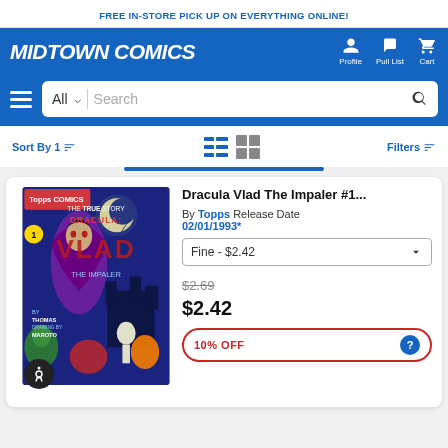FREE IN-STORE PICK UP ON EVERYTHING ONLINE!
[Figure (logo): Midtown Comics logo in white italic bold text on blue background with Profile, Pull List, Cart nav icons]
[Figure (screenshot): Search bar with All category dropdown and Search placeholder text and magnifying glass icon]
Sort By 1  [list view icons]  [grid view icons]  Filters
[Figure (illustration): Dracula Vlad The Impaler #1 comic book cover by Topps Comics showing Dracula with monsters]
Dracula Vlad The Impaler #1...
By Topps Release Date 02/01/1993*
Fine - $2.42
$2.69
$2.42
10% OFF